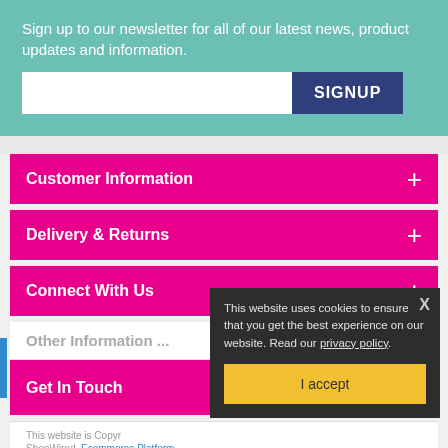Sign up to our newsletter for all of our latest news, product updates and information.
SIGNUP
Customer Information
Delivery & Returns
Connect With Us
Other Information ...
Get In Touch
This website is Copyright
ShopWired. Ecommerce Platform
This website uses cookies to ensure that you get the best experience on our website. Read our privacy policy.
I accept